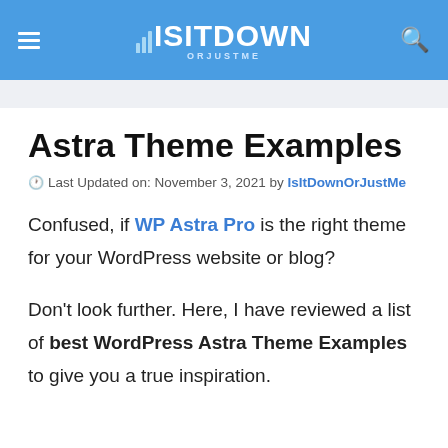ISITDOWN ORJUSTME
Astra Theme Examples
🕐 Last Updated on: November 3, 2021 by IsItDownOrJustMe
Confused, if WP Astra Pro is the right theme for your WordPress website or blog?
Don't look further. Here, I have reviewed a list of best WordPress Astra Theme Examples to give you a true inspiration.